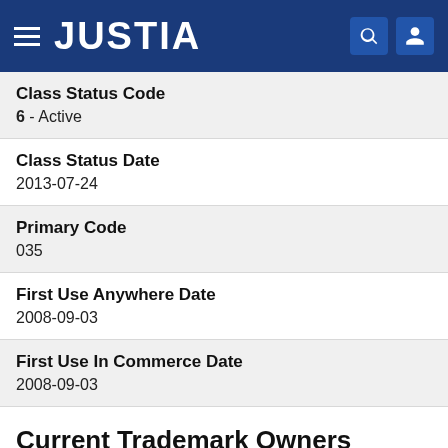JUSTIA
Class Status Code
6 - Active
Class Status Date
2013-07-24
Primary Code
035
First Use Anywhere Date
2008-09-03
First Use In Commerce Date
2008-09-03
Current Trademark Owners